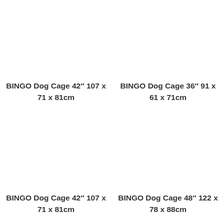BINGO Dog Cage 42″ 107 x 71 x 81cm
BINGO Dog Cage 36″ 91 x 61 x 71cm
BINGO Dog Cage 42″ 107 x 71 x 81cm
BINGO Dog Cage 48″ 122 x 78 x 88cm